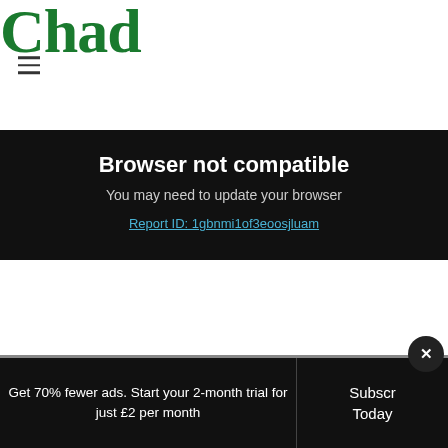Chad
Browser not compatible
You may need to update your browser
Report ID: 1gbnmi1of3eoosjluam
Get 70% fewer ads. Start your 2-month trial for just £2 per month
Subscribe Today